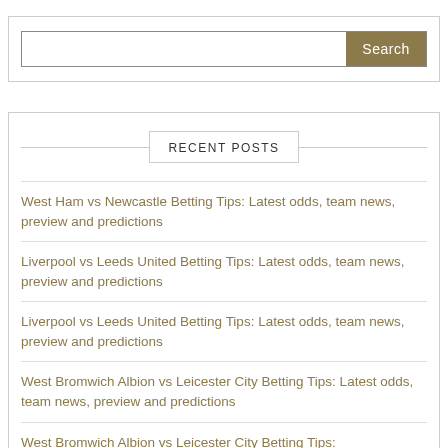[Figure (screenshot): Search input box with a khaki/brown Search button]
RECENT POSTS
West Ham vs Newcastle Betting Tips: Latest odds, team news, preview and predictions
Liverpool vs Leeds United Betting Tips: Latest odds, team news, preview and predictions
Liverpool vs Leeds United Betting Tips: Latest odds, team news, preview and predictions
West Bromwich Albion vs Leicester City Betting Tips: Latest odds, team news, preview and predictions
West Bromwich Albion vs Leicester City Betting Tips: